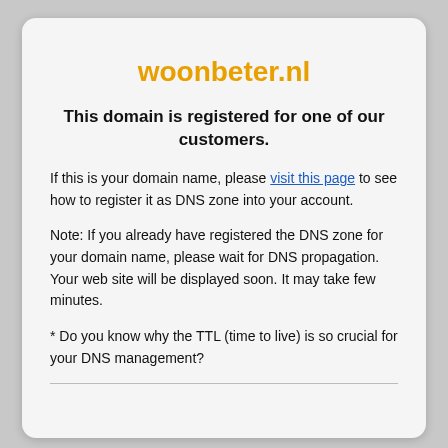woonbeter.nl
This domain is registered for one of our customers.
If this is your domain name, please visit this page to see how to register it as DNS zone into your account.
Note: If you already have registered the DNS zone for your domain name, please wait for DNS propagation. Your web site will be displayed soon. It may take few minutes.
* Do you know why the TTL (time to live) is so crucial for your DNS management?